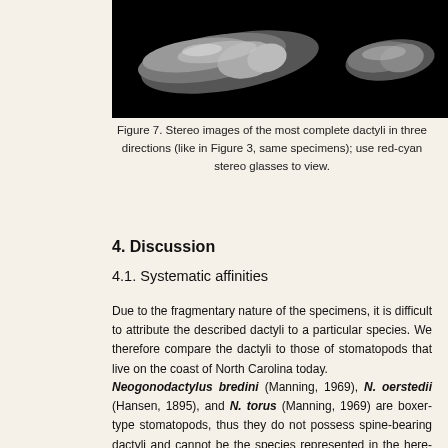[Figure (photo): Stereo images of dactyli specimens photographed against a black background, showing three views of the most complete dactyli.]
Figure 7. Stereo images of the most complete dactyli in three directions (like in Figure 3, same specimens); use red-cyan stereo glasses to view.
4. Discussion
4.1. Systematic affinities
Due to the fragmentary nature of the specimens, it is difficult to attribute the described dactyli to a particular species. We therefore compare the dactyli to those of stomatopods that live on the coast of North Carolina today.
Neogonodactylus bredini (Manning, 1969), N. oerstedii (Hansen, 1895), and N. torus (Manning, 1969) are boxer-type stomatopods, thus they do not possess spine-bearing dactyli and cannot be the species represented in the here-described material (Schwartz and Porter,